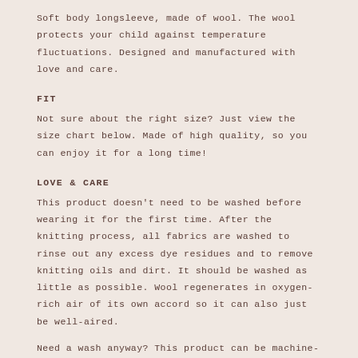Soft body longsleeve, made of wool. The wool protects your child against temperature fluctuations. Designed and manufactured with love and care.
FIT
Not sure about the right size? Just view the size chart below. Made of high quality, so you can enjoy it for a long time!
LOVE & CARE
This product doesn't need to be washed before wearing it for the first time. After the knitting process, all fabrics are washed to rinse out any excess dye residues and to remove knitting oils and dirt. It should be washed as little as possible. Wool regenerates in oxygen-rich air of its own accord so it can also just be well-aired.
Need a wash anyway? This product can be machine-washed at max. 30°C. Please use a wool-wash detergent, don't use any softener. Make sure to select a Wool Wash/Hand Wash program and to set the spin speed manually to max. 600 rpm.
ABOUT THE NATURAL BORN...